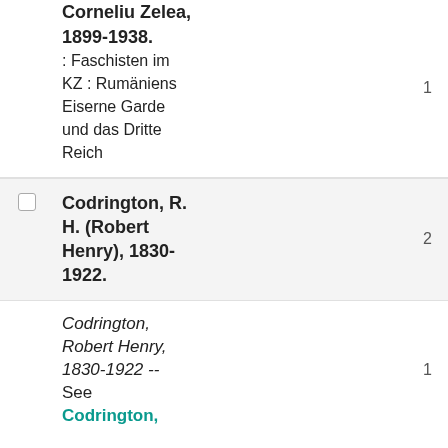Corneliu Zelea, 1899-1938. : Faschisten im KZ : Rumäniens Eiserne Garde und das Dritte Reich
Codrington, R. H. (Robert Henry), 1830-1922.
Codrington, Robert Henry, 1830-1922 -- See Codrington,